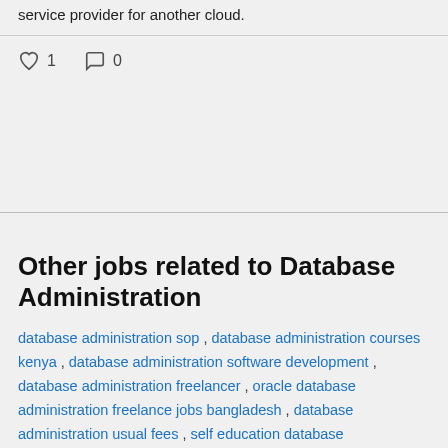service provider for another cloud.
1  0
Other jobs related to Database Administration
database administration sop , database administration courses kenya , database administration software development , database administration freelancer , oracle database administration freelance jobs bangladesh , database administration usual fees , self education database administration , oscommerce database administration , sdlc database administration , php database administration script , php database administration , flex database administration , sql server